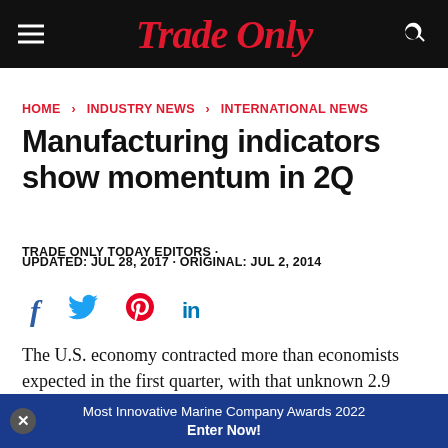Trade Only
HOME > INDUSTRY NEWS > INTERNATIONAL NEWS
Manufacturing indicators show momentum in 2Q
TRADE ONLY TODAY EDITORS •
UPDATED: JUL 28, 2017 · ORIGINAL: JUL 2, 2014
[Figure (infographic): Social share icons: Facebook, Twitter, Pinterest, LinkedIn]
The U.S. economy contracted more than economists expected in the first quarter, with that unknown 2.9 percent at the annual
Most Innovative Marine Company Awards 2022 Enter Now!